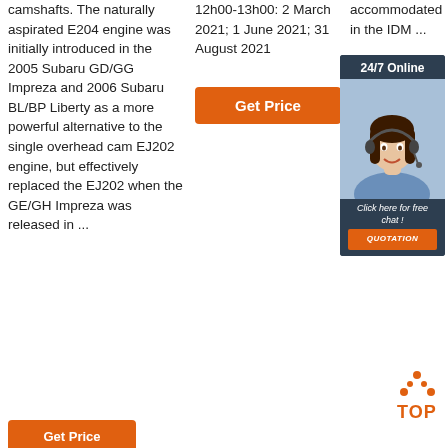camshafts. The naturally aspirated E204 engine was initially introduced in the 2005 Subaru GD/GG Impreza and 2006 Subaru BL/BP Liberty as a more powerful alternative to the single overhead cam EJ202 engine, but effectively replaced the EJ202 when the GE/GH Impreza was released in ...
12h00-13h00: 2 March 2021; 1 June 2021; 31 August 2021
[Figure (other): Get Price button (orange)]
accommodated in the IDM ...
[Figure (other): Get Price button (orange, partially visible)]
[Figure (other): 24/7 Online chat widget with woman wearing headset, dark background, 'Click here for free chat!' text, QUOTATION button]
[Figure (other): TOP button with orange dot triangle logo above 'TOP' text]
[Figure (other): Get Price button at bottom left (partially visible)]